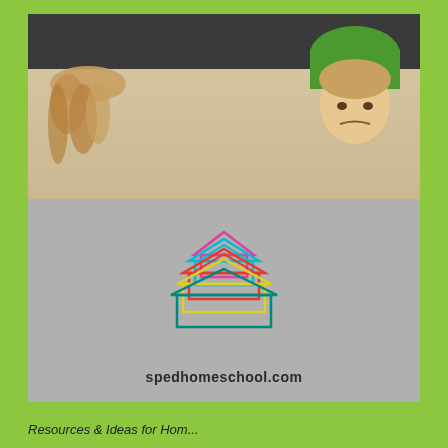[Figure (photo): Photo of two children hanging upside down off a dark couch onto a light wood floor, viewed from below/floor level. Green background border surrounds the overall card layout.]
[Figure (logo): spedhomeschool.com logo showing stacked colorful house outlines (pink, cyan, red, yellow, teal) arranged in a pyramid/stack pattern on a gray background, with the website text 'spedhomeschool.com' below.]
Resources & Ideas for Hom...